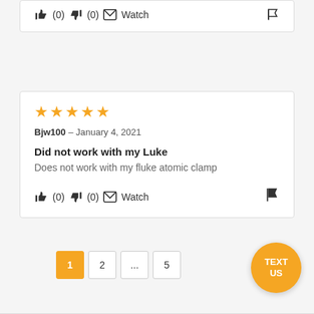👍 (0) 👎 (0) ✉ Watch [flag]
★★★★★ Bjw100 – January 4, 2021
Did not work with my Luke
Does not work with my fluke atomic clamp
👍 (0) 👎 (0) ✉ Watch [flag]
Pagination: 1 2 ... 5